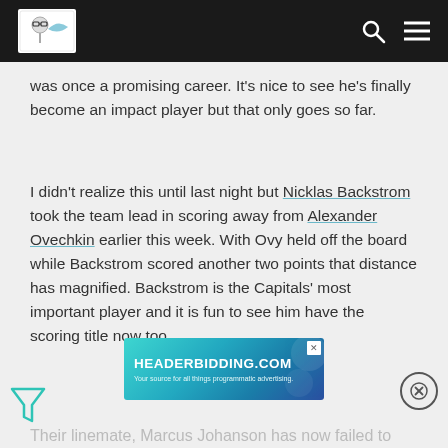[Website logo and navigation bar with search and menu icons]
was once a promising career. It's nice to see he's finally become an impact player but that only goes so far.
I didn't realize this until last night but Nicklas Backstrom took the team lead in scoring away from Alexander Ovechkin earlier this week. With Ovy held off the board while Backstrom scored another two points that distance has magnified. Backstrom is the Capitals' most important player and it is fun to see him have the scoring title now too.
[Figure (screenshot): Advertisement banner for HEADERBIDDING.COM - 'Your source for all things programmatic advertising.']
Their linemate, Marcus Johanson has now failed to